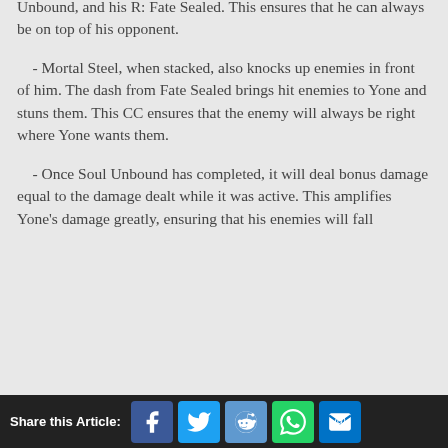Unbound, and his R: Fate Sealed. This ensures that he can always be on top of his opponent.
- Mortal Steel, when stacked, also knocks up enemies in front of him. The dash from Fate Sealed brings hit enemies to Yone and stuns them. This CC ensures that the enemy will always be right where Yone wants them.
- Once Soul Unbound has completed, it will deal bonus damage equal to the damage dealt while it was active. This amplifies Yone’s damage greatly, ensuring that his enemies will fall
Share this Article: